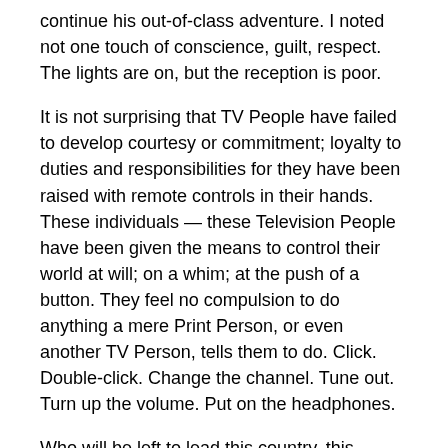continue his out-of-class adventure. I noted not one touch of conscience, guilt, respect. The lights are on, but the reception is poor.
It is not surprising that TV People have failed to develop courtesy or commitment; loyalty to duties and responsibilities for they have been raised with remote controls in their hands. These individuals — these Television People have been given the means to control their world at will; on a whim; at the push of a button. They feel no compulsion to do anything a mere Print Person, or even another TV Person, tells them to do. Click. Double-click. Change the channel. Tune out. Turn up the volume. Put on the headphones.
Who will be left to lead this country, this culture, with wisdom, knowledge and common sense? Who will direct academics back to the jewels of human history stored in the millions of volumes of printed matter? Who will teach children to read and develop the mental training for thought and problem solving? Print People